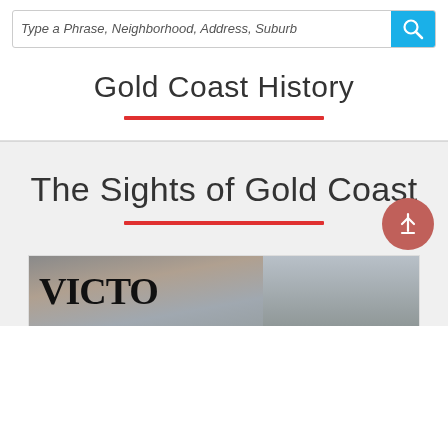Type a Phrase, Neighborhood, Address, Suburb
Gold Coast History
The Sights of Gold Coast
[Figure (photo): Partial view of a building with 'VICTO' text visible on a sign, street-level photo]